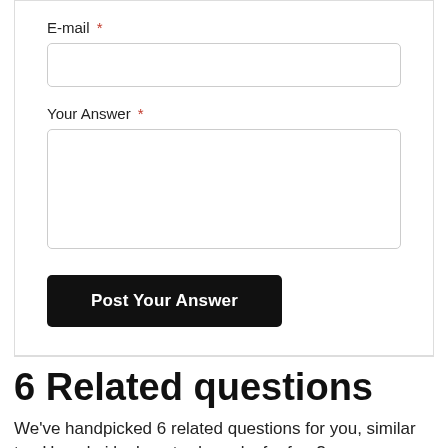E-mail *
Your Answer *
Post Your Answer
6 Related questions
We've handpicked 6 related questions for you, similar to «How do i look up trademarks for free?»